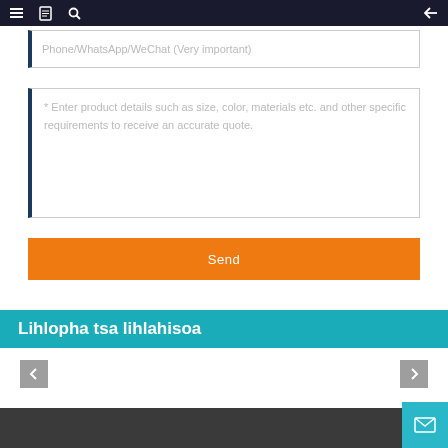Navigation bar with menu, document, search icons and back arrow
Phone/WhatsApp/WeChat (Very important)
* Enter product details such as size, color, materials etc. and other specific requirements to receive an accurate quote.
Send
Lihlopha tsa lihlahisoa
[Figure (other): Left navigation arrow button (gray)]
[Figure (other): Right navigation arrow button (gray)]
Footer bar with mail button